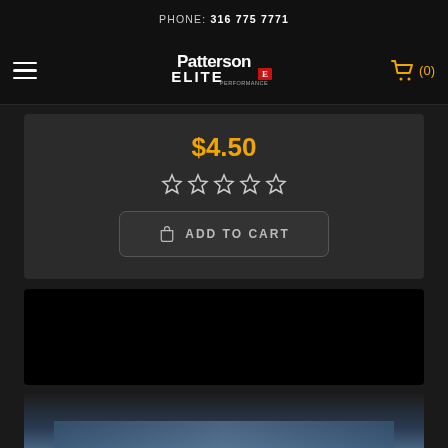PHONE: 316 775 7771
[Figure (logo): Patterson Elite Performance logo on black navigation bar with hamburger menu and shopping cart icon showing (0) items]
$4.50
[Figure (other): 5 empty star rating icons]
ADD TO CART
[Figure (photo): Black product image area placeholder]
[Figure (photo): Partially visible product photo with blue packaging visible at bottom]